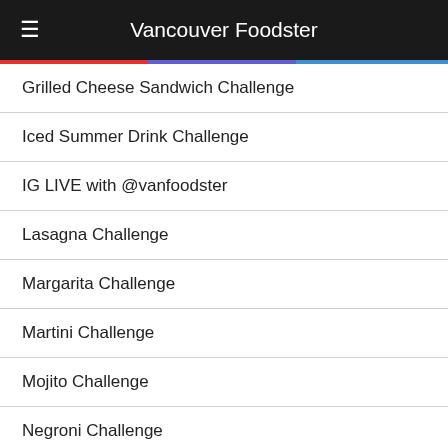Vancouver Foodster
Grilled Cheese Sandwich Challenge
Iced Summer Drink Challenge
IG LIVE with @vanfoodster
Lasagna Challenge
Margarita Challenge
Martini Challenge
Mojito Challenge
Negroni Challenge
Old Fashioned Cocktail Challenge
Panini Challenge
Pasta Challenge